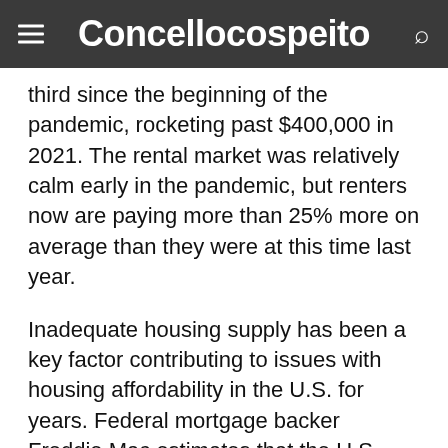Concellocospeito
third since the beginning of the pandemic, rocketing past $400,000 in 2021. The rental market was relatively calm early in the pandemic, but renters now are paying more than 25% more on average than they were at this time last year.
Inadequate housing supply has been a key factor contributing to issues with housing affordability in the U.S. for years. Federal mortgage backer Freddie Mac estimates that the U.S. has a 3.8 million unit shortage of housing. But the pandemic has only exacerbated the issue of supply. Housing inventory fell to record lows in 2020. The shift to working, schooling, and socializing from home increased preferences—and competition—for larger, single-